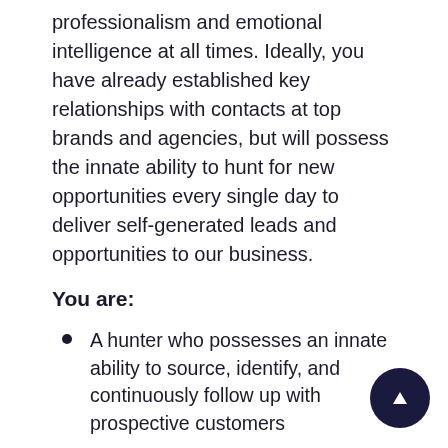professionalism and emotional intelligence at all times. Ideally, you have already established key relationships with contacts at top brands and agencies, but will possess the innate ability to hunt for new opportunities every single day to deliver self-generated leads and opportunities to our business.
You are:
A hunter who possesses an innate ability to source, identify, and continuously follow up with prospective customers
A fast learner with the ability to adjust to a dynamic constantly evolving sales process and market environment
An independent self-starter who comes